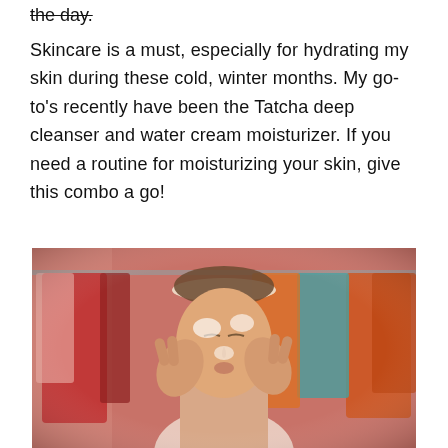the day.
Skincare is a must, especially for hydrating my skin during these cold, winter months. My go-to's recently have been the Tatcha deep cleanser and water cream moisturizer. If you need a routine for moisturizing your skin, give this combo a go!
[Figure (photo): A woman applying skincare cream to her face with her eyes closed, standing in front of a clothing rack with colorful garments. She is wearing a white headband and a light-colored top.]